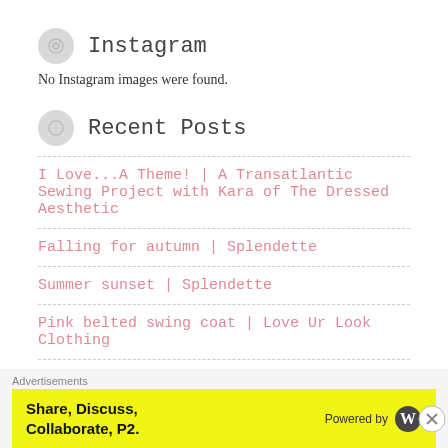Instagram
No Instagram images were found.
Recent Posts
I Love...A Theme! | A Transatlantic Sewing Project with Kara of The Dressed Aesthetic
Falling for autumn | Splendette
Summer sunset | Splendette
Pink belted swing coat | Love Ur Look Clothing
Advertisements
[Figure (screenshot): Yellow advertisement banner: Share, Discuss, Collaborate, P2. Powered by WordPress logo.]